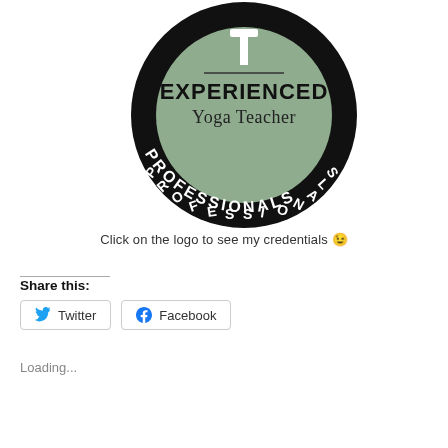[Figure (logo): Circular badge/seal for Experienced Yoga Teacher Professionals. Black outer ring with white text 'PROFESSIONALS' along the bottom arc. Inner green circle with black bold text 'EXPERIENCED' and 'Yoga Teacher', with a figure/icon at the top.]
Click on the logo to see my credentials 😉
Share this:
Twitter
Facebook
Loading...